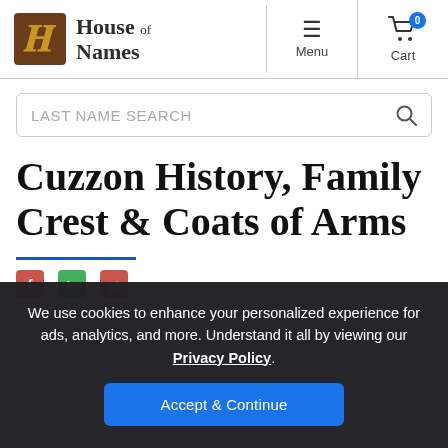House of Names — Menu | Cart (0)
LAST NAME SEARCH
Cuzzon History, Family Crest & Coats of Arms
We use cookies to enhance your personalized experience for ads, analytics, and more. Understand it all by viewing our Privacy Policy.
Accept & Continue